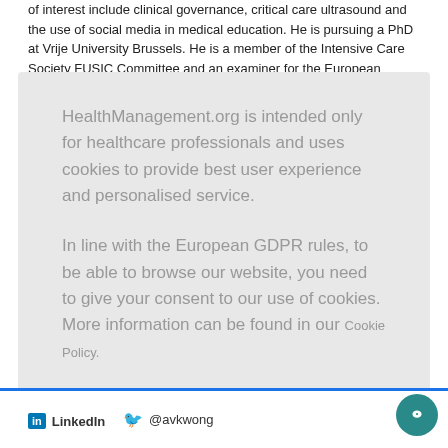of interest include clinical governance, critical care ultrasound and the use of social media in medical education. He is pursuing a PhD at Vrije University Brussels. He is a member of the Intensive Care Society FUSIC Committee and an examiner for the European Diploma of Intensive Care Medicine. He serves as the chair of the Editorial and Publishing Committee of the ESICM. He is...
HealthManagement.org is intended only for healthcare professionals and uses cookies to provide best user experience and personalised service.
In line with the European GDPR rules, to be able to browse our website, you need to give your consent to our use of cookies. More information can be found in our Cookie Policy.
I am a healthcare professional and consent to the use of cookies
LinkedIn  @avkwong